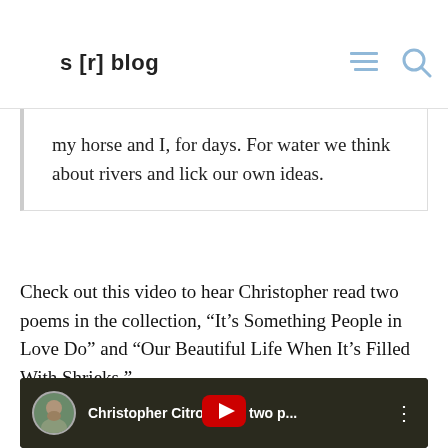s [r] blog
determine the color. At a distance everything goes gray. A mountain range a black-and-white film. We've been walking
my horse and I, for days. For water we think about rivers and lick our own ideas.
Check out this video to hear Christopher read two poems in the collection, “It’s Something People in Love Do” and “Our Beautiful Life When It’s Filled With Shrieks.”
[Figure (screenshot): YouTube video embed showing Christopher Citro reads two p... with play button, dark wooded background thumbnail]